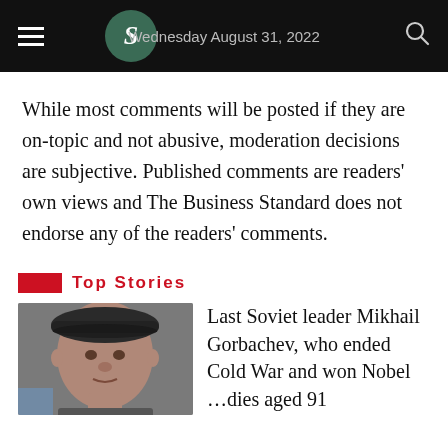Wednesday August 31, 2022
While most comments will be posted if they are on-topic and not abusive, moderation decisions are subjective. Published comments are readers' own views and The Business Standard does not endorse any of the readers' comments.
Top Stories
[Figure (photo): Photo of Mikhail Gorbachev, an elderly man wearing a dark flat cap]
Last Soviet leader Mikhail Gorbachev, who ended Cold War and won Nobel …dies aged 91